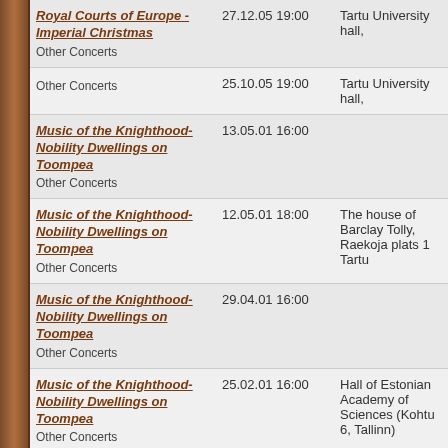| Event | Date/Time | Venue |
| --- | --- | --- |
| Royal Courts of Europe - Imperial Christmas
Other Concerts | 27.12.05 19:00 | Tartu University hall, |
| Other Concerts | 25.10.05 19:00 | Tartu University hall, |
| Music of the Knighthood- Nobility Dwellings on Toompea
Other Concerts | 13.05.01 16:00 |  |
| Music of the Knighthood- Nobility Dwellings on Toompea
Other Concerts | 12.05.01 18:00 | The house of Barclay Tolly, Raekoja plats 1 Tartu |
| Music of the Knighthood- Nobility Dwellings on Toompea
Other Concerts | 29.04.01 16:00 |  |
| Music of the Knighthood- Nobility Dwellings on Toompea
Other Concerts | 25.02.01 16:00 | Hall of Estonian Academy of Sciences (Kohtu 6, Tallinn) |
| Music of the Knighthood- Nobility Dwellings on Toompea
Other Concerts | 30.12.00 16:00 |  |
| Music of the Knighthood- Nobility... | 29.12.00 16:00 |  |